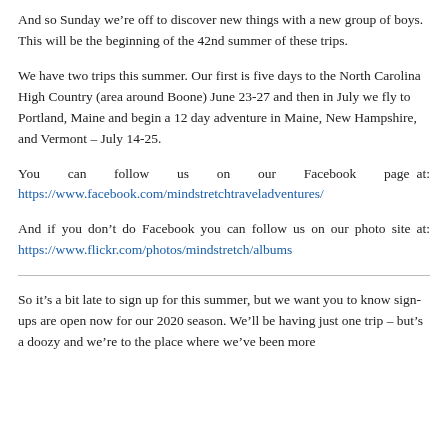And so Sunday we’re off to discover new things with a new group of boys. This will be the beginning of the 42nd summer of these trips.
We have two trips this summer. Our first is five days to the North Carolina High Country (area around Boone) June 23-27 and then in July we fly to Portland, Maine and begin a 12 day adventure in Maine, New Hampshire, and Vermont – July 14-25.
You can follow us on our Facebook page at: https://www.facebook.com/mindstretchtraveladventures/
And if you don’t do Facebook you can follow us on our photo site at: https://www.flickr.com/photos/mindstretch/albums
So it’s a bit late to sign up for this summer, but we want you to know sign-ups are open now for our 2020 season. We’ll be having just one trip – but’s a doozy and we’re to the place where we’ve been more than more than Wooster: Montana & more info to follow along with the